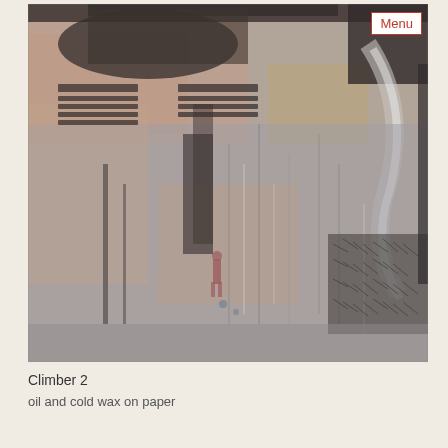[Figure (photo): Abstract artwork titled 'Climber 2' — oil and cold wax on paper. The painting features muted tones of gray, peach/pink, tan, and black. Textured marks, drips, scratches, and layered wax create a complex abstract surface. A faint small human figure appears near the lower center. Dark scribbled areas contrast with lighter washes. A white curved stroke appears on the right side. The surface has a patina-like, aged quality.]
Climber 2
oil and cold wax on paper